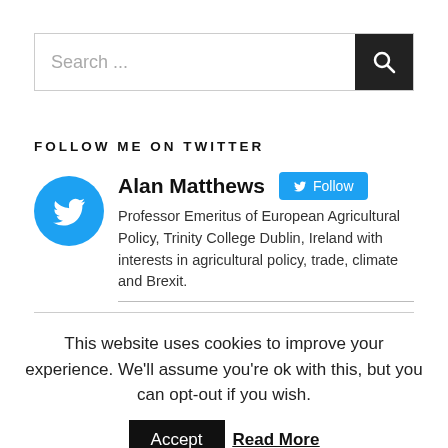[Figure (other): Search bar with text input placeholder 'Search ...' and a dark search button with magnifying glass icon]
FOLLOW ME ON TWITTER
[Figure (other): Twitter profile card showing Alan Matthews with blue Twitter bird avatar, Follow button, and bio text: Professor Emeritus of European Agricultural Policy, Trinity College Dublin, Ireland with interests in agricultural policy, trade, climate and Brexit.]
This website uses cookies to improve your experience. We'll assume you're ok with this, but you can opt-out if you wish.
Accept  Read More